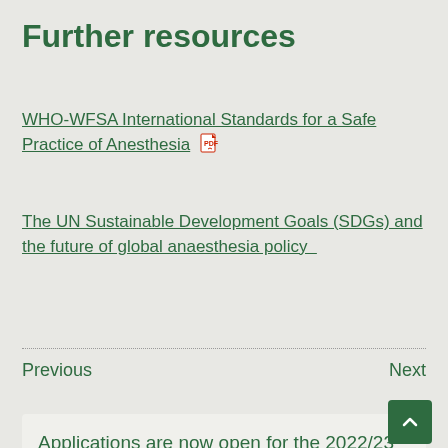Further resources
WHO-WFSA International Standards for a Safe Practice of Anesthesia [PDF link]
The UN Sustainable Development Goals (SDGs) and the future of global anaesthesia policy
Previous    Next
Applications are now open for the 2022/23 Paediatric Anaesthesia Fellowships in Nairobi, Kenya